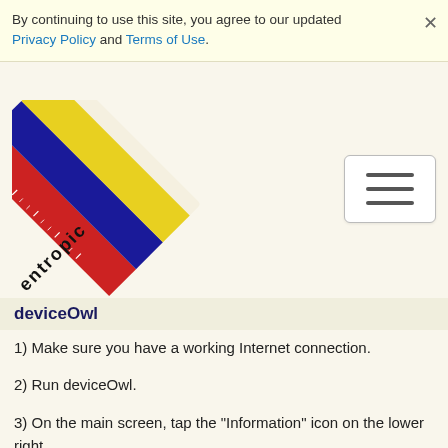By continuing to use this site, you agree to our updated Privacy Policy and Terms of Use.
[Figure (logo): Entropic logo: a triangular diagonal ruler with red, blue, and yellow colors and the word 'entropic' written along the diagonal.]
deviceOwl
1) Make sure you have a working Internet connection.
2) Run deviceOwl.
3) On the main screen, tap the "Information" icon on the lower right.
4) Select the "Restore Purchases" option, then select "Continue". If prompted, please enter the Apple ID credentials that you used to